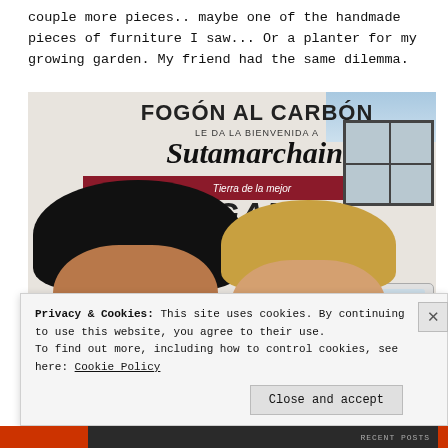couple more pieces.. maybe one of the handmade pieces of furniture I saw... Or a planter for my growing garden. My friend had the same dilemma.
[Figure (photo): Two women wearing face masks posing for a selfie in front of a building with a mural/sign reading 'FOGON AL CARBON LE DA LA BIENVENIDA A Sutamarchain Tierra de la mejor LONGANIZA'. One woman has dark hair and a black mask, the other has blonde hair and a light blue mask.]
Privacy & Cookies: This site uses cookies. By continuing to use this website, you agree to their use.
To find out more, including how to control cookies, see here: Cookie Policy
Close and accept